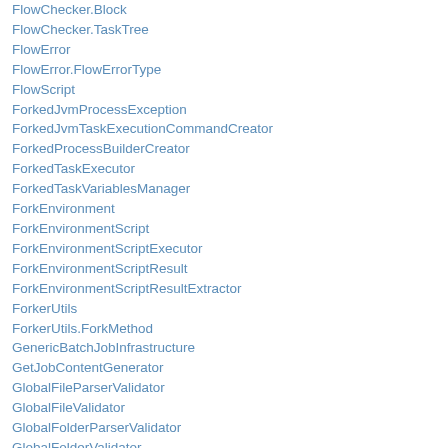FlowChecker.Block
FlowChecker.TaskTree
FlowError
FlowError.FlowErrorType
FlowScript
ForkedJvmProcessException
ForkedJvmTaskExecutionCommandCreator
ForkedProcessBuilderCreator
ForkedTaskExecutor
ForkedTaskVariablesManager
ForkEnvironment
ForkEnvironmentScript
ForkEnvironmentScriptExecutor
ForkEnvironmentScriptResult
ForkEnvironmentScriptResultExtractor
ForkerUtils
ForkerUtils.ForkMethod
GenericBatchJobInfrastructure
GetJobContentGenerator
GlobalFileParserValidator
GlobalFileValidator
GlobalFolderParserValidator
GlobalFolderValidator
GroupNamePrincipal
HAC
HiddenParserValidator
HostsFileBasedInfrastructureManager
HostsPinger